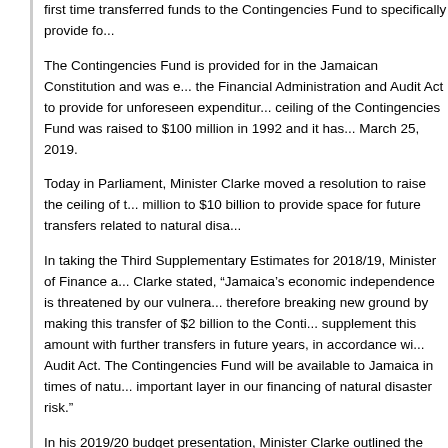first time transferred funds to the Contingencies Fund to specifically provide fo...
The Contingencies Fund is provided for in the Jamaican Constitution and was established under the Financial Administration and Audit Act to provide for unforeseen expenditures. The ceiling of the Contingencies Fund was raised to $100 million in 1992 and it has... March 25, 2019.
Today in Parliament, Minister Clarke moved a resolution to raise the ceiling of the... million to $10 billion to provide space for future transfers related to natural disa...
In taking the Third Supplementary Estimates for 2018/19, Minister of Finance a... Clarke stated, “Jamaica’s economic independence is threatened by our vulnera... therefore breaking new ground by making this transfer of $2 billion to the Conti... supplement this amount with further transfers in future years, in accordance wi... Audit Act. The Contingencies Fund will be available to Jamaica in times of natu... important layer in our financing of natural disaster risk.”
In his 2019/20 budget presentation, Minister Clarke outlined the intent of the Go... the financing of natural disaster risk consisting of several layers including catas... instruments, traditional insurance products like the Caribbean Catastrophe Ris... savings in the Contingencies Fund and the annual budget.
The Minister noted, “Our history has been one where unplanned weather relate... consistently diverted scarce resources away from social and economic develo...